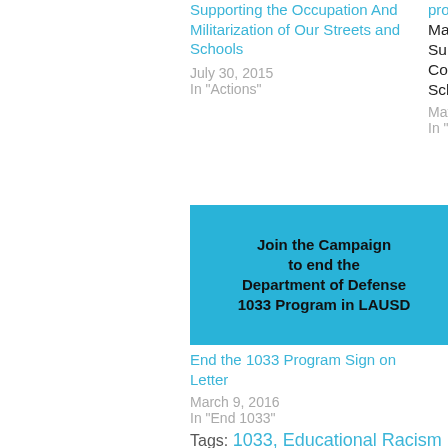Supporting the Occupation And Militarization of Our Streets and Schools
July 30, 2015
In 'Actions'
program
May 15, 2015
Superintendent Ramon Cortines Los Angeles Unified School
May 18, 2015
In 'Actions'
[Figure (infographic): Blue box with bold text: Join the Campaign to end the Department of Defense 1033 Program in LAUSD]
End the 1033 Program Sign on Letter
March 9, 2016
In 'End 1033'
Tags: 1033, Educational Racism